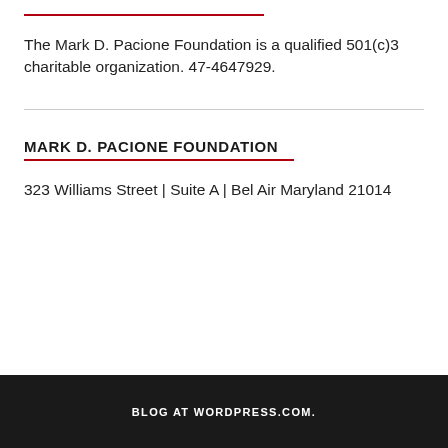The Mark D. Pacione Foundation is a qualified 501(c)3 charitable organization. 47-4647929.
MARK D. PACIONE FOUNDATION
323 Williams Street | Suite A | Bel Air Maryland 21014
BLOG AT WORDPRESS.COM.